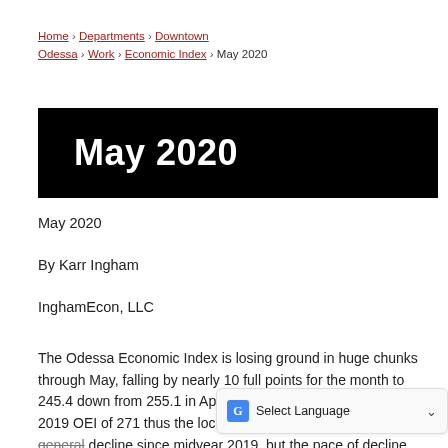Home › Departments › Downtown Odessa › Work › Economic Index › May 2020
May 2020
May 2020
By Karr Ingham
InghamEcon, LLC
The Odessa Economic Index is losing ground in huge chunks through May, falling by nearly 10 full points for the month to 245.4 down from 255.1 in April, and down 9.5% from the May 2019 OEI of 271 thus the local economy - has been in a state of general decline since midyear 2019, but the pace of decline